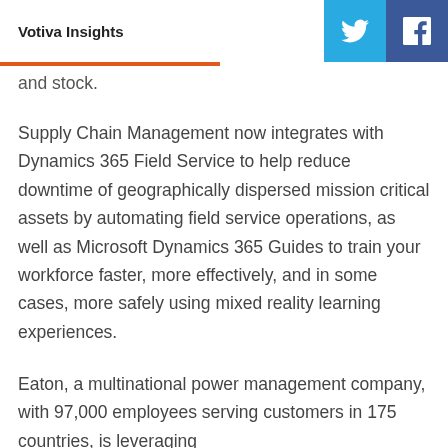Votiva Insights
and stock.
Supply Chain Management now integrates with Dynamics 365 Field Service to help reduce downtime of geographically dispersed mission critical assets by automating field service operations, as well as Microsoft Dynamics 365 Guides to train your workforce faster, more effectively, and in some cases, more safely using mixed reality learning experiences.
Eaton, a multinational power management company, with 97,000 employees serving customers in 175 countries, is leveraging